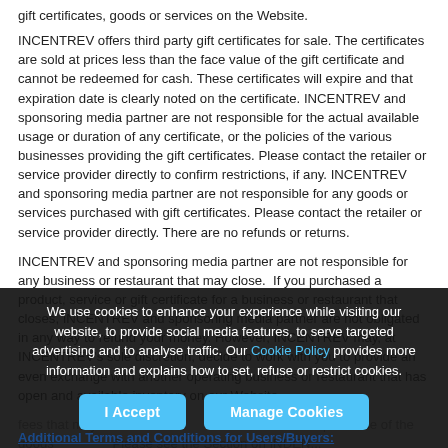gift certificates, goods or services on the Website.
INCENTREV offers third party gift certificates for sale. The certificates are sold at prices less than the face value of the gift certificate and cannot be redeemed for cash. These certificates will expire and that expiration date is clearly noted on the certificate. INCENTREV and sponsoring media partner are not responsible for the actual available usage or duration of any certificate, or the policies of the various businesses providing the gift certificates. Please contact the retailer or service provider directly to confirm restrictions, if any. INCENTREV and sponsoring media partner are not responsible for any goods or services purchased with gift certificates. Please contact the retailer or service provider directly. There are no refunds or returns.
INCENTREV and sponsoring media partner are not responsible for any business or restaurant that may close.  If you purchased a product, service or gift certificate for a business or restaurant that closes, INCENTREV and sponsoring media partner are not obligated in any way to refund your money. However, INCENTREV may, at INCENTREV's sole discretion, decide to work with you to provide an even exchange with another operating business or restaurant that has open and available inventory on our Website.
We use cookies to enhance your experience while visiting our website, to provide social media features, to serve targeted advertising and to analyse traffic. Our Cookie Policy provides more information and explains how to set, refuse or restrict cookies.
fees that may arise ... from the sale and purchase of the goods ... Please see the Section on INDEN...
Additional Terms and Conditions for Users/Buyers: